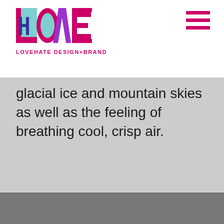LOVEHATE DESIGN+BRAND
glacial ice and mountain skies as well as the feeling of breathing cool, crisp air.
[Figure (other): Dark gray lower section background area]